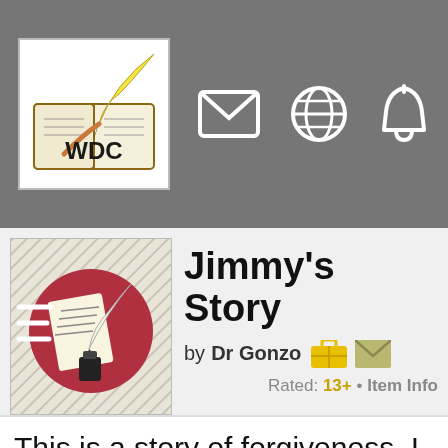[Figure (logo): WDC writing community logo with book and quill pen]
[Figure (infographic): Navigation bar icons: envelope/mail, globe/web, bell/notification, chat/message]
[Figure (illustration): Story thumbnail: quill pen and paper writing illustration with red circle background and diagonal stripe border]
Jimmy's Story
by Dr Gonzo
Rated: 13+ • Item Info
This is a story of forgiveness. I believe that unless we are able to forgive...let go of the pain and the negative feelings